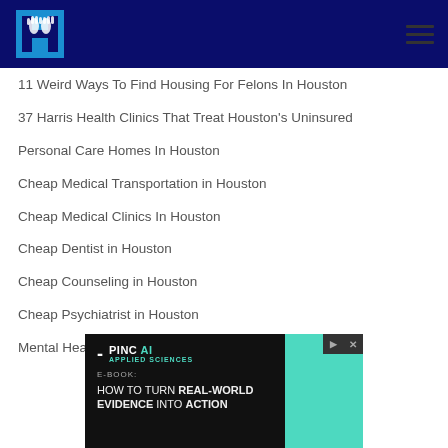[Figure (logo): Blue H logo with hands icon on dark navy header bar]
11 Weird Ways To Find Housing For Felons In Houston
37 Harris Health Clinics That Treat Houston's Uninsured
Personal Care Homes In Houston
Cheap Medical Transportation in Houston
Cheap Medical Clinics In Houston
Cheap Dentist in Houston
Cheap Counseling in Houston
Cheap Psychiatrist in Houston
Mental Health Help For Veterans In Houston
[Figure (screenshot): Advertisement banner for PINC AI Applied Sciences e-book: How To Turn Real-World Evidence Into Action]